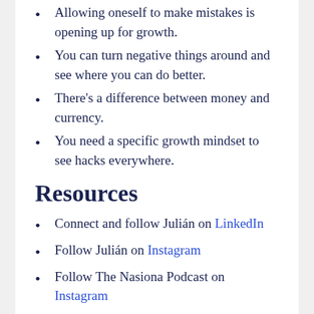Allowing oneself to make mistakes is opening up for growth.
You can turn negative things around and see where you can do better.
There's a difference between money and currency.
You need a specific growth mindset to see hacks everywhere.
Resources
Connect and follow Julián on LinkedIn
Follow Julián on Instagram
Follow The Nasiona Podcast on Instagram
Discover more about The Nasiona